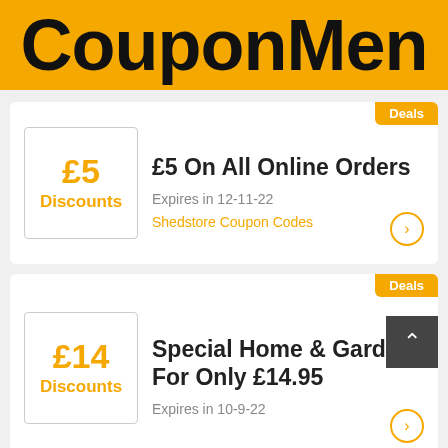CouponMen
Deals
£5 On All Online Orders
Expires in 12-11-22
Shedstore Coupon Codes
£5 Discounts
Deals
Special Home & Garden For Only £14.95
Expires in 10-9-22
£14 Discounts